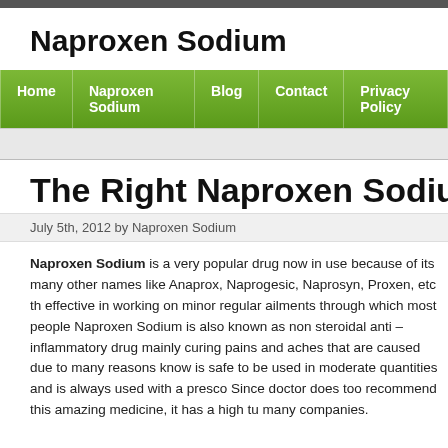Naproxen Sodium
Home | Naproxen Sodium | Blog | Contact | Privacy Policy
The Right Naproxen Sodium
July 5th, 2012 by Naproxen Sodium
Naproxen Sodium is a very popular drug now in use because of its many other names like Anaprox, Naprogesic, Naprosyn, Proxen, etc the effective in working on minor regular ailments through which most people. Naproxen Sodium is also known as non steroidal anti – inflammatory drug mainly curing pains and aches that are caused due to many reasons know is safe to be used in moderate quantities and is always used with a presc Since doctor does too recommend this amazing medicine, it has a high tu many companies.